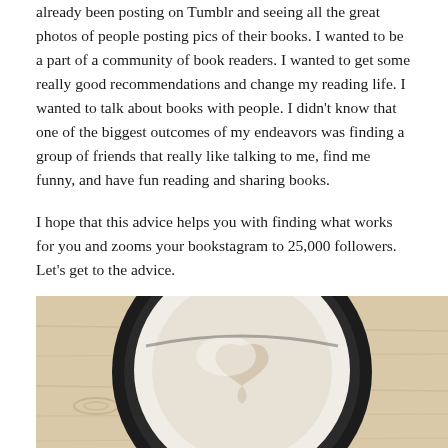already been posting on Tumblr and seeing all the great photos of people posting pics of their books. I wanted to be a part of a community of book readers. I wanted to get some really good recommendations and change my reading life. I wanted to talk about books with people. I didn't know that one of the biggest outcomes of my endeavors was finding a group of friends that really like talking to me, find me funny, and have fun reading and sharing books.
I hope that this advice helps you with finding what works for you and zooms your bookstagram to 25,000 followers. Let's get to the advice.
[Figure (photo): Overhead top-down view of a latte or cappuccino in a dark cup on a light wooden table, showing white frothy milk foam from above.]